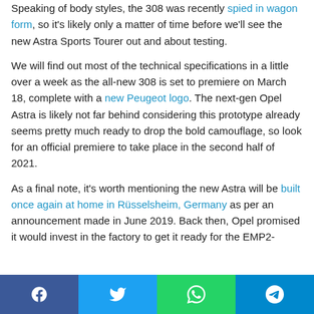Speaking of body styles, the 308 was recently spied in wagon form, so it's likely only a matter of time before we'll see the new Astra Sports Tourer out and about testing.
We will find out most of the technical specifications in a little over a week as the all-new 308 is set to premiere on March 18, complete with a new Peugeot logo. The next-gen Opel Astra is likely not far behind considering this prototype already seems pretty much ready to drop the bold camouflage, so look for an official premiere to take place in the second half of 2021.
As a final note, it's worth mentioning the new Astra will be built once again at home in Rüsselsheim, Germany as per an announcement made in June 2019. Back then, Opel promised it would invest in the factory to get it ready for the EMP2-
[Figure (infographic): Social share bar with four buttons: Facebook (blue), Twitter (light blue), WhatsApp (green), Telegram (blue)]